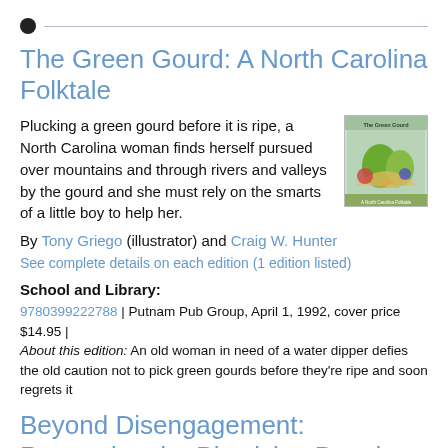The Green Gourd: A North Carolina Folktale
Plucking a green gourd before it is ripe, a North Carolina woman finds herself pursued over mountains and through rivers and valleys by the gourd and she must rely on the smarts of a little boy to help her.
[Figure (photo): Book cover of 'The Green Gourd: A North Carolina Folktale' showing colorful illustrated scene]
By Tony Griego (illustrator) and Craig W. Hunter
See complete details on each edition (1 edition listed)
School and Library:
9780399222788 | Putnam Pub Group, April 1, 1992, cover price $14.95 | About this edition: An old woman in need of a water dipper defies the old caution not to pick green gourds before they're ripe and soon regrets it
Beyond Disengagement: Recreating the Physician Practice